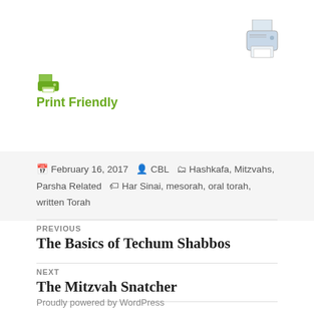[Figure (illustration): Printer icon in the top right corner]
[Figure (illustration): Small green printer/print-friendly icon]
Print Friendly
February 16, 2017   CBL   Hashkafa, Mitzvahs, Parsha Related   Har Sinai, mesorah, oral torah, written Torah
PREVIOUS
The Basics of Techum Shabbos
NEXT
The Mitzvah Snatcher
Proudly powered by WordPress